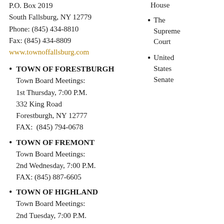P.O. Box 2019
South Fallsburg, NY 12779
Phone: (845) 434-8810
Fax: (845) 434-8809
www.townoffallsburg.com
TOWN OF FORESTBURGH
Town Board Meetings:
1st Thursday, 7:00 P.M.
332 King Road
Forestburgh, NY 12777
FAX: (845) 794-0678
TOWN OF FREMONT
Town Board Meetings:
2nd Wednesday, 7:00 P.M.
FAX: (845) 887-6605
TOWN OF HIGHLAND
Town Board Meetings:
2nd Tuesday, 7:00 P.M.
House
The Supreme Court
United States Senate